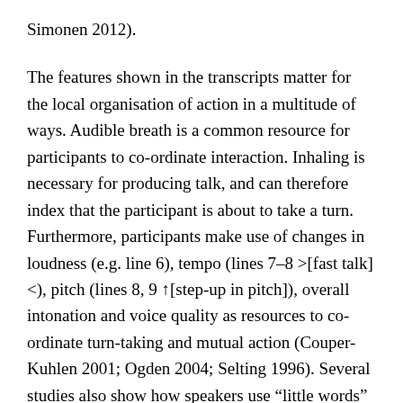Simonen 2012).
The features shown in the transcripts matter for the local organisation of action in a multitude of ways. Audible breath is a common resource for participants to co-ordinate interaction. Inhaling is necessary for producing talk, and can therefore index that the participant is about to take a turn. Furthermore, participants make use of changes in loudness (e.g. line 6), tempo (lines 7–8 >[fast talk]<), pitch (lines 8, 9 ↑[step-up in pitch]), overall intonation and voice quality as resources to co-ordinate turn-taking and mutual action (Couper-Kuhlen 2001; Ogden 2004; Selting 1996). Several studies also show how speakers use “little words” to indicate how their upcoming talk relates to the ongoing conversation, such as the turn-initial discourse particle “siis”(line 7) prefacing the doctor’s specification and explanation of his action